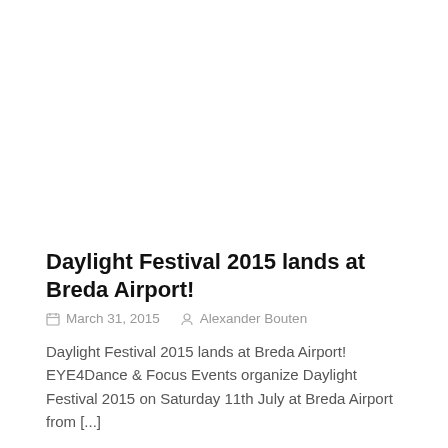Daylight Festival 2015 lands at Breda Airport!
March 31, 2015   Alexander Bouten
Daylight Festival 2015 lands at Breda Airport! EYE4Dance & Focus Events organize Daylight Festival 2015 on Saturday 11th July at Breda Airport from [...]